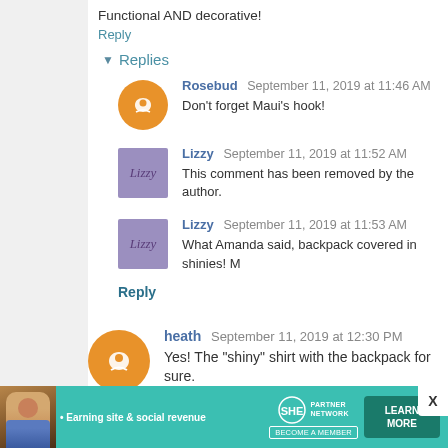Functional AND decorative!
Reply
Replies
Rosebud  September 11, 2019 at 11:46 AM
Don't forget Maui's hook!
Lizzy  September 11, 2019 at 11:52 AM
This comment has been removed by the author.
Lizzy  September 11, 2019 at 11:53 AM
What Amanda said, backpack covered in shinies! M
Reply
heath  September 11, 2019 at 12:30 PM
Yes! The "shiny" shirt with the backpack for sure.
[Figure (infographic): SHE Partner Network advertisement banner with a person photo, tagline 'Earning site & social revenue', SHE logo, PARTNER NETWORK label, BECOME A MEMBER badge, and LEARN MORE button on teal background.]